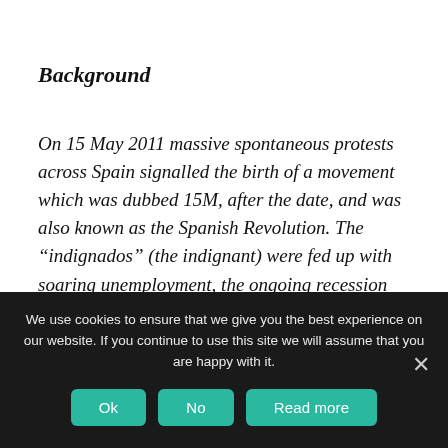Background
On 15 May 2011 massive spontaneous protests across Spain signalled the birth of a movement which was dubbed 15M, after the date, and was also known as the Spanish Revolution. The “indignados” (the indignant) were fed up with soaring unemployment, the ongoing recession and a political system perceived as unrepresentative and corrupt. A year later the 15M movement is alive and kicking and has spawned diverse grassroots initiatives, from campaigns to prevent
We use cookies to ensure that we give you the best experience on our website. If you continue to use this site we will assume that you are happy with it.
Ok
No
Read more